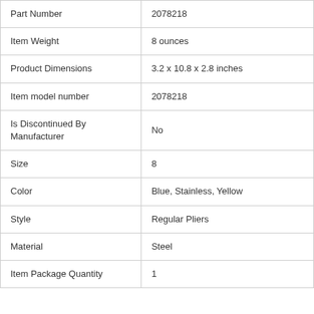| Part Number | 2078218 |
| Item Weight | 8 ounces |
| Product Dimensions | 3.2 x 10.8 x 2.8 inches |
| Item model number | 2078218 |
| Is Discontinued By Manufacturer | No |
| Size | 8 |
| Color | Blue, Stainless, Yellow |
| Style | Regular Pliers |
| Material | Steel |
| Item Package Quantity | 1 |